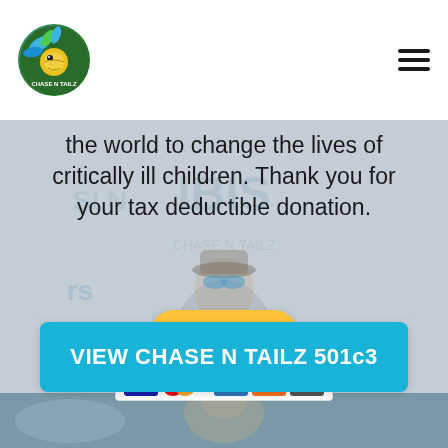[Figure (logo): Chase N Tailz logo - circular fish logo with colorful feathers/scales, with CHASE N TAILZ text below]
the world to change the lives of critically ill children. Thank you for your tax deductible donation.
[Figure (other): PayPal Donate button with payment card icons (Visa, Mastercard, Mastercard, American Express, Discover, and one more)]
[Figure (photo): Background showing blurred sponsor logos and a person in sunglasses]
VIEW CHASE N TAILZ 501c3